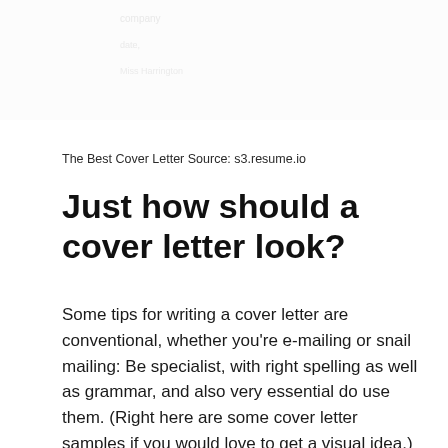[Figure (other): Blurred/redacted top section of a document showing faint lines of text (company name, date, and recipient name), partially visible and out of focus]
The Best Cover Letter Source: s3.resume.io
Just how should a cover letter look?
Some tips for writing a cover letter are conventional, whether you're e-mailing or snail mailing: Be specialist, with right spelling as well as grammar, and also very essential do use them. (Right here are some cover letter samples if you would love to get a visual idea.) Other pointers relate only to